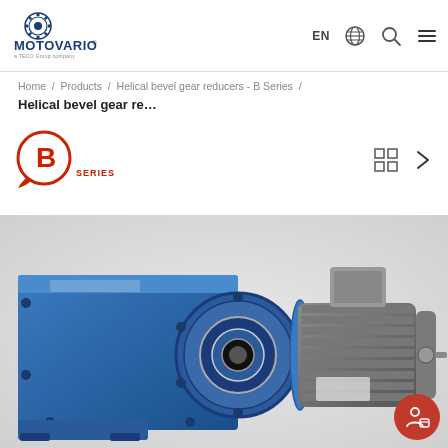[Figure (logo): Motovario logo with gear icon and tagline 'HEART OF MOTION', 'a TECO Group company']
EN  🌐  🔍  ≡
Home / Products / Helical bevel gear reducers - B Series /
Helical bevel gear re...
[Figure (logo): B Series badge — red circle with bold white B letter and 'SERIES' label in red below]
[Figure (photo): Motovario helical bevel gear reducer B Series — blue gearbox unit with attached silver electric motor, shown at angle on white background]